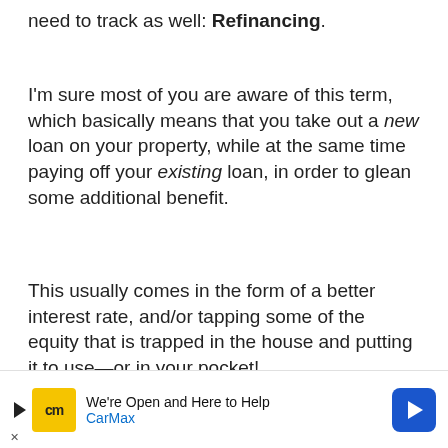need to track as well: Refinancing.
I'm sure most of you are aware of this term, which basically means that you take out a new loan on your property, while at the same time paying off your existing loan, in order to glean some additional benefit.
This usually comes in the form of a better interest rate, and/or tapping some of the equity that is trapped in the house and putting it to use—or in your pocket!
We t... y closi...